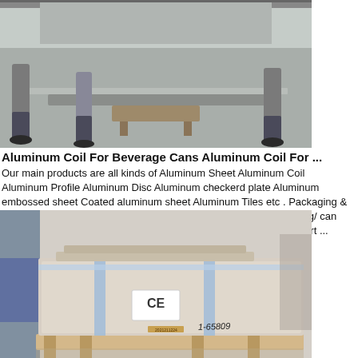[Figure (photo): Workers in a warehouse/factory setting handling large aluminum sheets or coils on a concrete floor. The bottom half of the workers are visible with safety clothing.]
Aluminum Coil For Beverage Cans Aluminum Coil For ...
Our main products are all kinds of Aluminum Sheet Aluminum Coil Aluminum Profile Aluminum Disc Aluminum checkerd plate Aluminum embossed sheet Coated aluminum sheet Aluminum Tiles etc . Packaging & Shipping 5182 H19 H49 aluminum coil for end stock / tabstock / ring/ can EOE for beverage 1.We can supply mill test report or make third part ...
Get Price
[Figure (photo): A packaged aluminum coil wrapped in beige/cream colored protective covering, strapped with blue bands on a wooden pallet. A CE label is visible on the front. Handwritten number '1-65809' is on the side.]